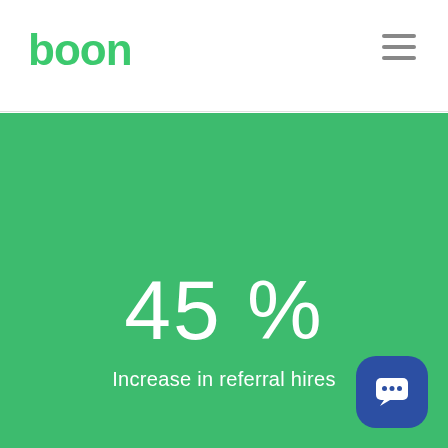boon
45 %
Increase in referral hires
[Figure (logo): Chat button icon in bottom right corner]